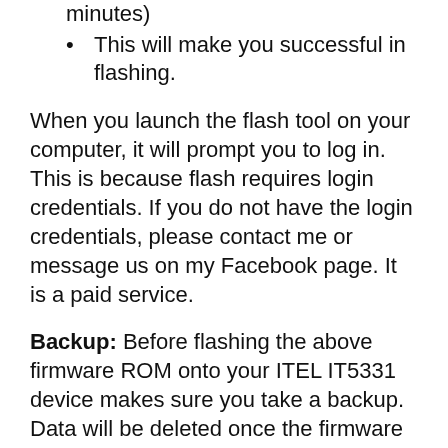minutes)
This will make you successful in flashing.
When you launch the flash tool on your computer, it will prompt you to log in. This is because flash requires login credentials. If you do not have the login credentials, please contact me or message us on my Facebook page. It is a paid service.
Backup: Before flashing the above firmware ROM onto your ITEL IT5331 device makes sure you take a backup. Data will be deleted once the firmware is flashed.
Disclaimer: Firmware flashing can be a time-consuming process. It should only be